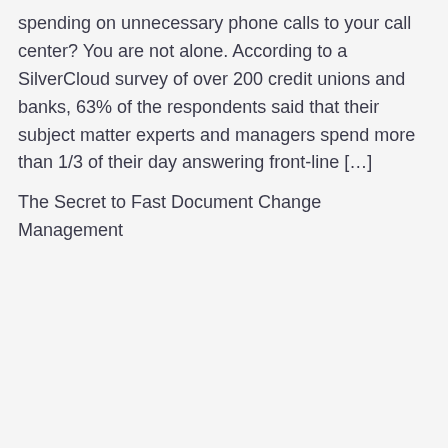Ever stop to wonder how much you are really spending on unnecessary phone calls to your call center? You are not alone. According to a SilverCloud survey of over 200 credit unions and banks, 63% of the respondents said that their subject matter experts and managers spend more than 1/3 of their day answering front-line […]
The Secret to Fast Document Change Management